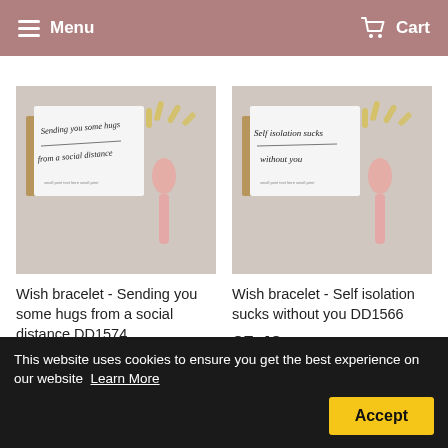Menu  Cart
[Figure (photo): Wish bracelet product photo - card reading 'Sending you some hugs from a social distance' with a bracelet, spoon and paper clips on textured background]
Wish bracelet - Sending you some hugs from a social distance DD1574
£5.49
[Figure (photo): Wish bracelet product photo - card reading 'Self isolation sucks without you' with a bracelet, spoon and paper clips on textured background]
Wish bracelet - Self isolation sucks without you DD1566
£5.49
This website uses cookies to ensure you get the best experience on our website  Learn More
Accept